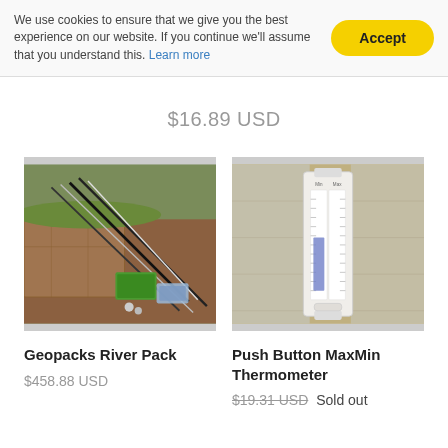We use cookies to ensure that we give you the best experience on our website. If you continue we'll assume that you understand this. Learn more
$16.89 USD
[Figure (photo): Geopacks River Pack - fishing rods and equipment laid out on rocky ground with a green tackle box]
Geopacks River Pack
$458.88 USD
[Figure (photo): Push Button MaxMin Thermometer - a wall-mounted thermometer showing min and max temperature scales, mounted on wood paneling]
Push Button MaxMin Thermometer
$19.31 USD Sold out